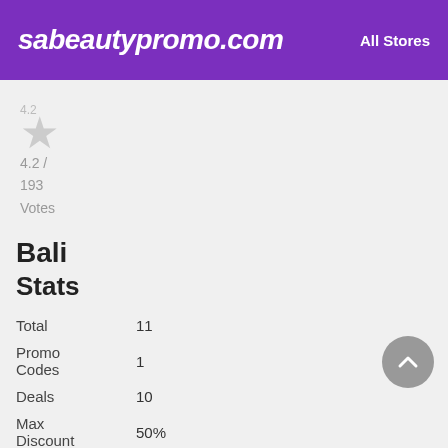sabeautypromo.com   All Stores
4.2 / 193 Votes
Bali
Stats
|  |  |
| --- | --- |
| Total | 11 |
| Promo Codes | 1 |
| Deals | 10 |
| Max Discount | 50% |
| Last Updated | August 2022 |